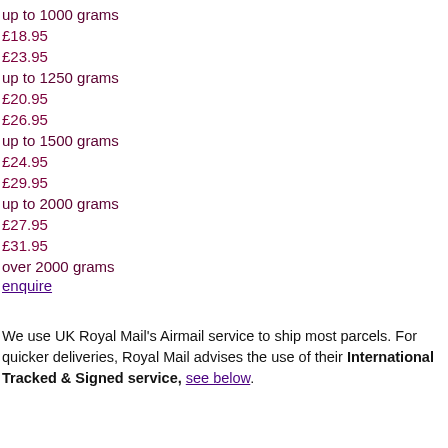up to 1000 grams
£18.95
£23.95
up to 1250 grams
£20.95
£26.95
up to 1500 grams
£24.95
£29.95
up to 2000 grams
£27.95
£31.95
over 2000 grams
enquire
We use UK Royal Mail's Airmail service to ship most parcels. For quicker deliveries, Royal Mail advises the use of their International Tracked & Signed service, see below.